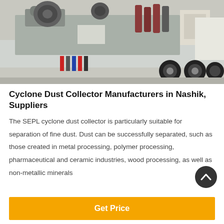[Figure (photo): Industrial cyclone dust collector machine mounted on a flatbed truck. Heavy machinery with electric motors, pipes, and large rollers visible. Gray industrial equipment on a white truck chassis.]
Cyclone Dust Collector Manufacturers in Nashik, Suppliers
The SEPL cyclone dust collector is particularly suitable for separation of fine dust. Dust can be successfully separated, such as those created in metal processing, polymer processing, pharmaceutical and ceramic industries, wood processing, as well as non-metallic minerals